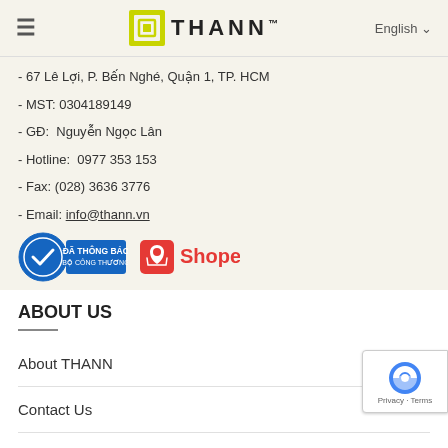THANN - English
- 67 Lê Lợi, P. Bến Nghé, Quận 1, TP. HCM
- MST: 0304189149
- GĐ:  Nguyễn Ngọc Lân
- Hotline:  0977 353 153
- Fax: (028) 3636 3776
- Email: info@thann.vn
[Figure (logo): Đã Thông Báo Bộ Công Thương badge and Shopee logo]
ABOUT US
About THANN
Contact Us
Search branch